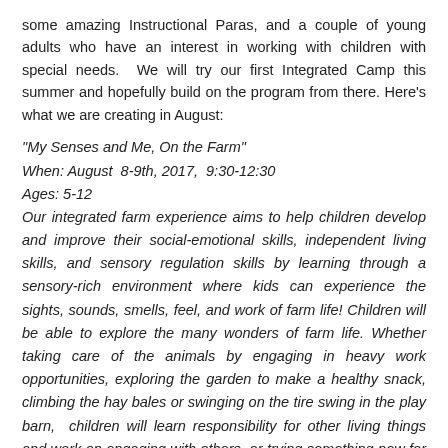some amazing Instructional Paras, and a couple of young adults who have an interest in working with children with special needs.  We will try our first Integrated Camp this summer and hopefully build on the program from there. Here's what we are creating in August:
"My Senses and Me, On the Farm"
When: August  8-9th, 2017,  9:30-12:30
Ages: 5-12
Our integrated farm experience aims to help children develop and improve their social-emotional skills, independent living skills, and sensory regulation skills by learning through a sensory-rich environment where kids can experience the sights, sounds, smells, feel, and work of farm life! Children will be able to explore the many wonders of farm life. Whether taking care of the animals by engaging in heavy work opportunities, exploring the garden to make a healthy snack, climbing the hay bales or swinging on the tire swing in the play barn,  children will learn responsibility for other living things and work on engaging with others  or trying something new for the first time.
And here's  a hello from  Leah, the OT who is heading up the class. The other teachers will be Dawn, Kate and yours truly, FarmHer Rosemary.